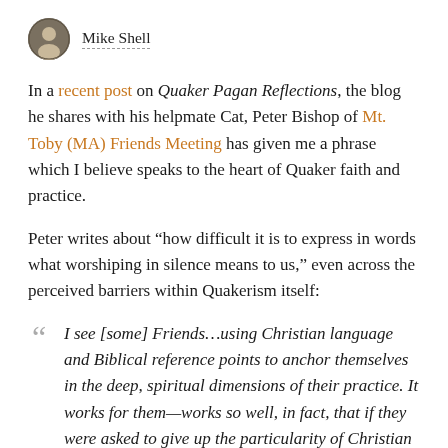Mike Shell
In a recent post on Quaker Pagan Reflections, the blog he shares with his helpmate Cat, Peter Bishop of Mt. Toby (MA) Friends Meeting has given me a phrase which I believe speaks to the heart of Quaker faith and practice.
Peter writes about “how difficult it is to express in words what worshiping in silence means to us,” even across the perceived barriers within Quakerism itself:
“I see [some] Friends…using Christian language and Biblical reference points to anchor themselves in the deep, spiritual dimensions of their practice. It works for them—works so well, in fact, that if they were asked to give up the particularity of Christian